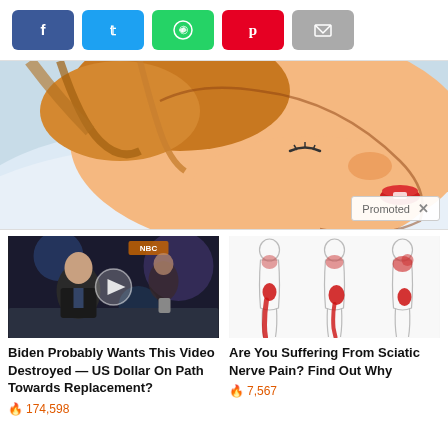[Figure (other): Social share buttons: Facebook (blue), Twitter (light blue), WhatsApp (green), Pinterest (red), Email (gray)]
[Figure (illustration): Comic-style illustration of a person sleeping, close-up of face with red lips on white pillow, warm skin tones. 'Promoted X' badge in bottom right corner.]
[Figure (photo): Video thumbnail of a man in a dark suit sitting at a desk in a news studio (CNBC-style), with a play button overlay. Ad for 'Biden Probably Wants This Video Destroyed — US Dollar On Path Towards Replacement?' with fire icon and 174,598 views.]
Biden Probably Wants This Video Destroyed — US Dollar On Path Towards Replacement?
174,598
[Figure (illustration): Medical illustration showing three side-profile body outlines with red highlighted areas indicating sciatic nerve pain pathways running from lower back down the leg.]
Are You Suffering From Sciatic Nerve Pain? Find Out Why
7,567